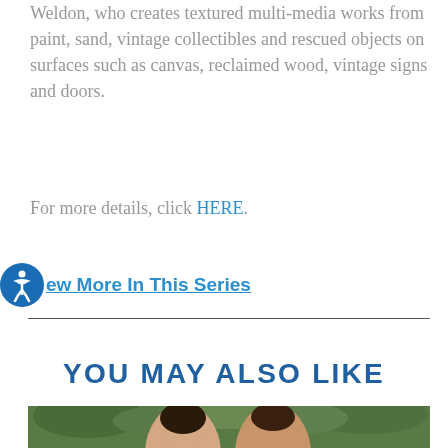Weldon, who creates textured multi-media works from paint, sand, vintage collectibles and rescued objects on surfaces such as canvas, reclaimed wood, vintage signs and doors.
For more details, click HERE.
View More In This Series
YOU MAY ALSO LIKE
[Figure (photo): Photo of two people outdoors with green foliage in background]